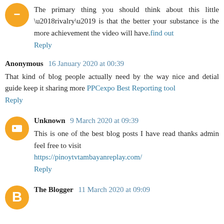The primary thing you should think about this little ‘rivalry’ is that the better your substance is the more achievement the video will have.find out
Reply
Anonymous 16 January 2020 at 00:39
That kind of blog people actually need by the way nice and detial guide keep it sharing more PPCexpo Best Reporting tool
Reply
Unknown 9 March 2020 at 09:39
This is one of the best blog posts I have read thanks admin feel free to visit https://pinoytvtambayanreplay.com/
Reply
The Blogger 11 March 2020 at 09:09